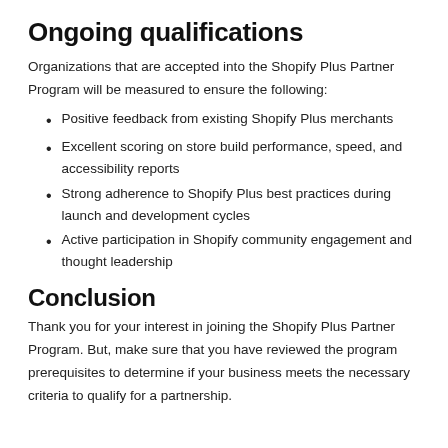Ongoing qualifications
Organizations that are accepted into the Shopify Plus Partner Program will be measured to ensure the following:
Positive feedback from existing Shopify Plus merchants
Excellent scoring on store build performance, speed, and accessibility reports
Strong adherence to Shopify Plus best practices during launch and development cycles
Active participation in Shopify community engagement and thought leadership
Conclusion
Thank you for your interest in joining the Shopify Plus Partner Program. But, make sure that you have reviewed the program prerequisites to determine if your business meets the necessary criteria to qualify for a partnership.